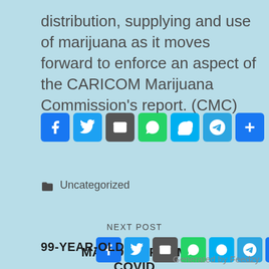distribution, supplying and use of marijuana as it moves forward to enforce an aspect of the CARICOM Marijuana Commission's report. (CMC)
[Figure (other): Row of social media share buttons: Facebook, Twitter, Email, WhatsApp, Skype, Telegram, Plus/Share]
Uncategorized
NEXT POST
99-YEAR-OLD
MAN DIES FROM COVID
[Figure (other): Row of social media share buttons: Facebook, Twitter, Email, WhatsApp, Skype, Telegram, Plus/Share (second set)]
Generated by Feedzy